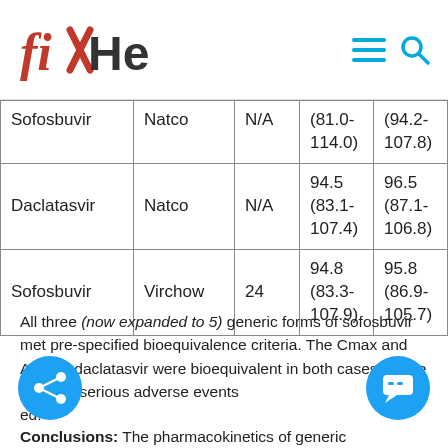fixHepC
| Sofosbuvir | Natco | N/A | (81.0-114.0) | (94.2-107.8) |
| Daclatasvir | Natco | N/A | 94.5 (83.1-107.4) | 96.5 (87.1-106.8) |
| Sofosbuvir | Virchow | 24 | 94.8 (83.3-107.9) | 95.8 (86.9-105.7) |
All three (now expanded to 5) generic forms of sofosbuvir met pre-specified bioequivalence criteria. The Cmax and AUC of daclatasvir were bioequivalent in both cases. There were no serious adverse events reported.
Conclusions: The pharmacokinetics of generic